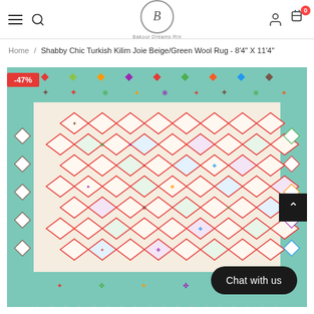Navigation bar with hamburger menu, search, logo (B / Bakour Dreams Rin), user icon, cart icon with badge 0
Home / Shabby Chic Turkish Kilim Joie Beige/Green Wool Rug - 8'4" X 11'4"
[Figure (photo): Product photo of a colorful Turkish Kilim rug with diamond geometric patterns in red, teal, green, orange, and multicolor on a beige background. A red -47% discount badge is shown top-left. A scroll-to-top arrow button appears on the right. A 'Chat with us' button appears at the bottom right.]